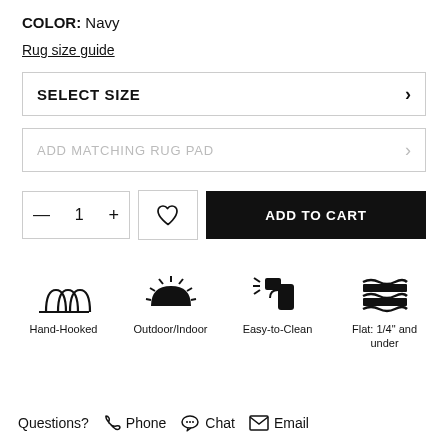COLOR: Navy
Rug size guide
SELECT SIZE
ADD MATCHING RUG PAD
— 1 +
ADD TO CART
[Figure (infographic): Four feature icons: Hand-Hooked (yarn loops), Outdoor/Indoor (sun), Easy-to-Clean (spray bottle), Flat: 1/4" and under (layers)]
Questions?  Phone  Chat  Email